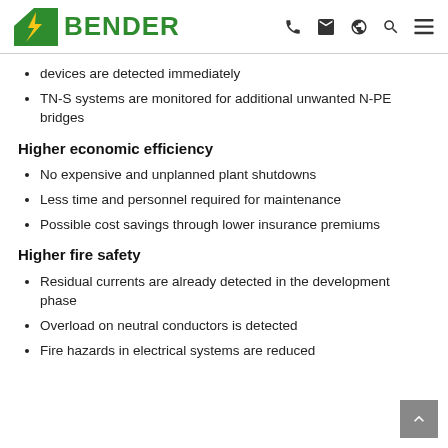BENDER
devices are detected immediately
TN-S systems are monitored for additional unwanted N-PE bridges
Higher economic efficiency
No expensive and unplanned plant shutdowns
Less time and personnel required for maintenance
Possible cost savings through lower insurance premiums
Higher fire safety
Residual currents are already detected in the development phase
Overload on neutral conductors is detected
Fire hazards in electrical systems are reduced